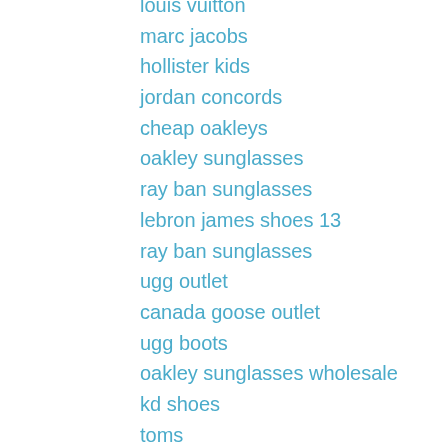louis vuitton
marc jacobs
hollister kids
jordan concords
cheap oakleys
oakley sunglasses
ray ban sunglasses
lebron james shoes 13
ray ban sunglasses
ugg outlet
canada goose outlet
ugg boots
oakley sunglasses wholesale
kd shoes
toms
pandora jewelry
cheap soccer shoes
air max 95
ugg outlet store
michael kors online
ugg boots
ugg boots
mulberry handbags